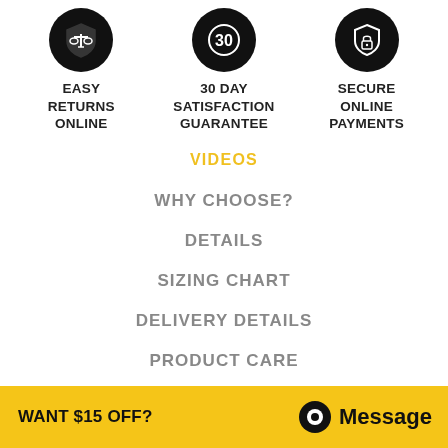[Figure (illustration): Three icons in circles: a shield with balance/return icon labeled EASY RETURNS ONLINE, a circle with 30 labeled 30 DAY SATISFACTION GUARANTEE, and a shield with lock icon labeled SECURE ONLINE PAYMENTS]
EASY RETURNS ONLINE
30 DAY SATISFACTION GUARANTEE
SECURE ONLINE PAYMENTS
VIDEOS
WHY CHOOSE?
DETAILS
SIZING CHART
DELIVERY DETAILS
PRODUCT CARE
WANT $15 OFF?
Message